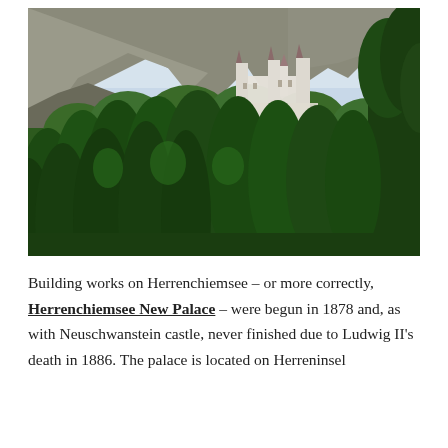[Figure (photo): Photograph of Neuschwanstein castle perched on a rocky hillside surrounded by dense green forest, with mountains and a pale sky in the background.]
Building works on Herrenchiemsee – or more correctly, Herrenchiemsee New Palace – were begun in 1878 and, as with Neuschwanstein castle, never finished due to Ludwig II's death in 1886. The palace is located on Herreninsel